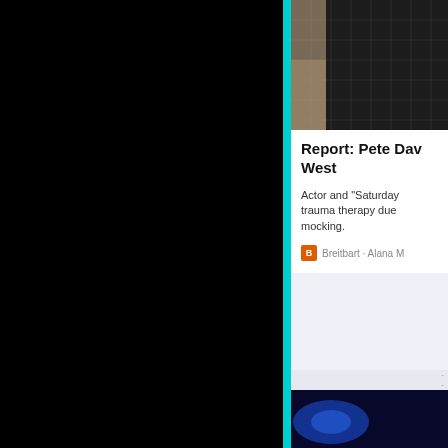[Figure (photo): Dark grid/circuit board background image in upper right panel]
Report: Pete Dav... West
Actor and "Saturday... trauma therapy due... mocking.
Breitbart · Alana M...
[Figure (photo): Dark image with blue glow/light in lower right panel]